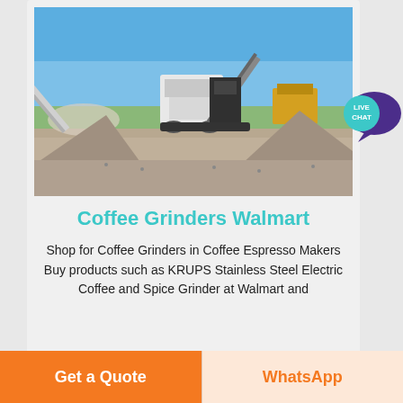[Figure (photo): Outdoor mining/crushing plant machinery with conveyor belts and a front loader, on a gravel site under a clear blue sky.]
Coffee Grinders Walmart
Shop for Coffee Grinders in Coffee Espresso Makers Buy products such as KRUPS Stainless Steel Electric Coffee and Spice Grinder at Walmart and
Get a Quote
WhatsApp